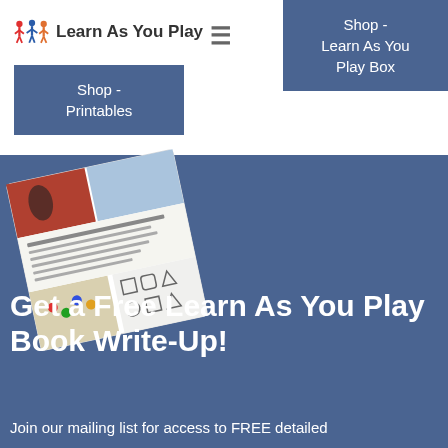[Figure (logo): Learn As You Play logo with colorful figure icons and text]
≡
Shop - Learn As You Play Box
Shop - Printables
[Figure (photo): A tilted booklet/printable pack showing children playing and activity content list]
Get a Free Learn As You Play Book Write-Up!
Join our mailing list for access to FREE detailed